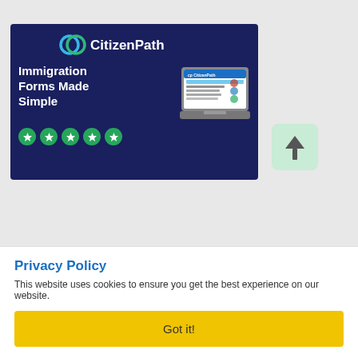[Figure (illustration): CitizenPath advertisement banner on dark navy background. Shows CitizenPath logo at top center (blue and green 'cp' icon with white text), tagline 'Immigration Forms Made Simple' in bold white text on left, laptop mockup screenshot on right showing CitizenPath website, and five green star rating circles at the bottom left.]
[Figure (illustration): Light green rounded square scroll-to-top button with an upward arrow icon.]
Privacy Policy
This website uses cookies to ensure you get the best experience on our website.
Got it!